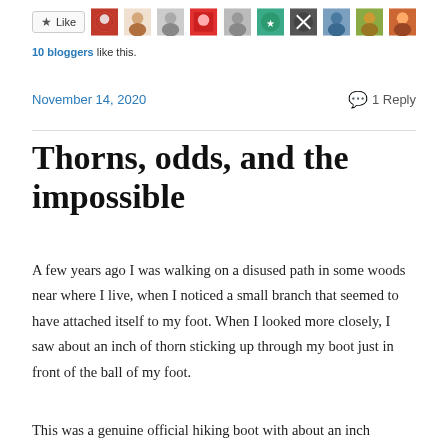[Figure (other): Like button and blogger avatar images row]
10 bloggers like this.
November 14, 2020    💬 1 Reply
Thorns, odds, and the impossible
A few years ago I was walking on a disused path in some woods near where I live, when I noticed a small branch that seemed to have attached itself to my foot. When I looked more closely, I saw about an inch of thorn sticking up through my boot just in front of the ball of my foot.
This was a genuine official hiking boot with about an inch